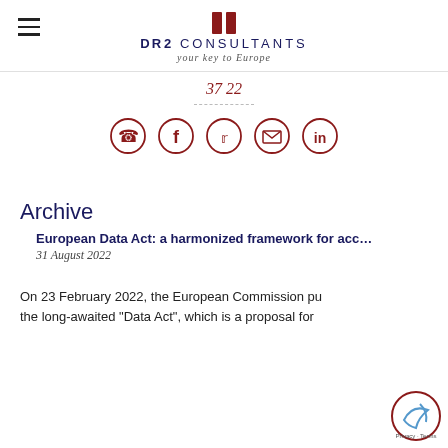Dr2 Consultants — your key to Europe
37 22
[Figure (other): Social sharing icons: WhatsApp, Facebook, Twitter, Email, LinkedIn — circular bordered icons in dark red]
Archive
European Data Act: a harmonized framework for acc…
31 August 2022
On 23 February 2022, the European Commission pu the long-awaited "Data Act", which is a proposal for